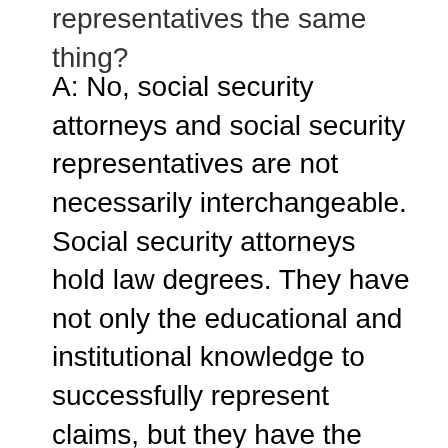representatives the same thing?
A: No, social security attorneys and social security representatives are not necessarily interchangeable. Social security attorneys hold law degrees. They have not only the educational and institutional knowledge to successfully represent claims, but they have the experience to know how to navigate the process and trouble shoot any issues or delays that may arise. Many social security representatives have a great deal of experience with the claim review process. In fact, many were disability examiners at some point. But there is no requirement that representatives hold law degrees and it can sometimes be difficult to know the level of